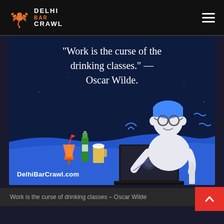Delhi Bar Crawl
[Figure (illustration): Dark navy background illustration showing a man with blue hair and glasses working on a laptop, with cocktail drinks and a beer bottle on the table. Blue wave at the bottom. Quote text overlay: “Work is the curse of the drinking classes.” — Oscar Wilde. Website label: DelhiBarCrawl.com]
Work is the curse of drinking classes – Oscar Wilde